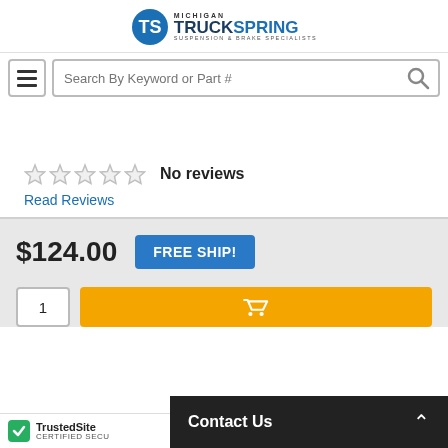Michigan TruckSpring - Suspension & Brake Specialists
[Figure (screenshot): Search bar with hamburger menu icon and search icon]
No reviews
Read Reviews
$124.00
FREE SHIP!
[Figure (screenshot): Quantity input box and orange Add to Cart button]
[Figure (logo): TrustedSite Certified Secure badge]
Contact Us